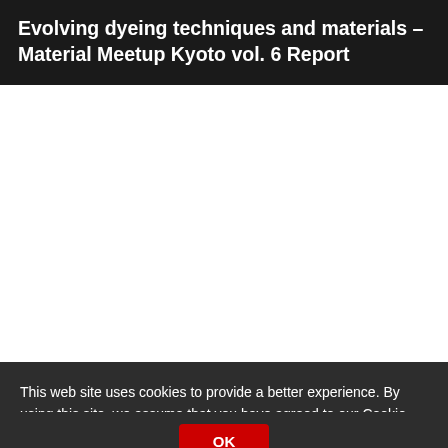Evolving dyeing techniques and materials – Material Meetup Kyoto vol. 6 Report
[Figure (other): Large white blank area, likely image placeholder]
This web site uses cookies to provide a better experience. By using this site, we assume that you have agreed to our Cookie Policy. Read more
OK